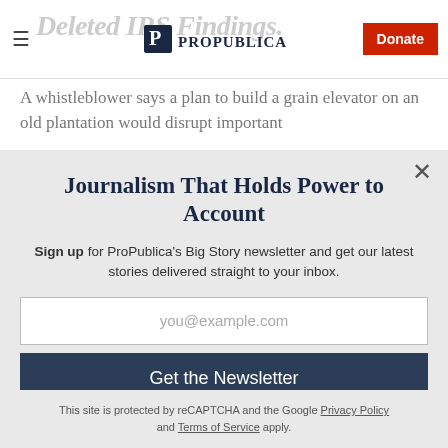ProPublica — Deleted IRS Findings (background page visible behind modal)
A whistleblower says a plan to build a grain elevator on an old plantation would disrupt important
Journalism That Holds Power to Account
Sign up for ProPublica's Big Story newsletter and get our latest stories delivered straight to your inbox.
you@example.com
Get the Newsletter
No thanks, I'm all set
This site is protected by reCAPTCHA and the Google Privacy Policy and Terms of Service apply.